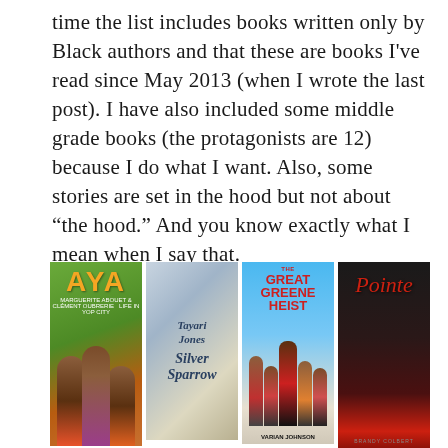time the list includes books written only by Black authors and that these are books I've read since May 2013 (when I wrote the last post). I have also included some middle grade books (the protagonists are 12) because I do what I want. Also, some stories are set in the hood but not about “the hood.” And you know exactly what I mean when I say that.
[Figure (photo): Four book covers displayed side by side: 'AYA' (graphic novel with illustrated figures in colorful African dress), 'Tayari Jones Silver Sparrow' (literary novel with a woman's dress), 'The Great Greene Heist by Varian Johnson' (middle grade novel with group of students), and 'Pointe' by Brandy Colbert (dark atmospheric cover with red script title)]